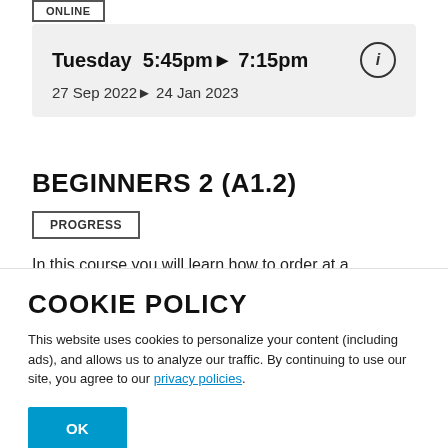ONLINE
Tuesday 5:45pm▶ 7:15pm
27 Sep 2022▶ 24 Jan 2023
BEGINNERS 2 (A1.2)
PROGRESS
In this course you will learn how to order at a restaurant, talk about the weather, tell the time and give and understand directions.
COOKIE POLICY
This website uses cookies to personalize your content (including ads), and allows us to analyze our traffic. By continuing to use our site, you agree to our privacy policies.
OK